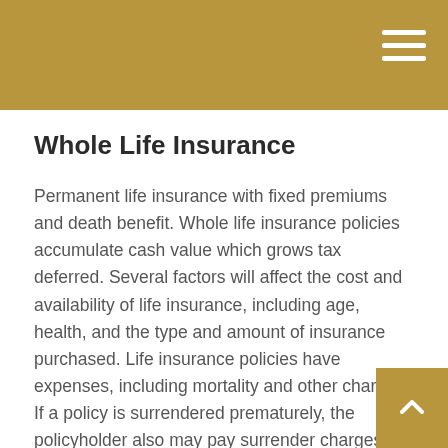Whole Life Insurance
Permanent life insurance with fixed premiums and death benefit. Whole life insurance policies accumulate cash value which grows tax deferred. Several factors will affect the cost and availability of life insurance, including age, health, and the type and amount of insurance purchased. Life insurance policies have expenses, including mortality and other charges. If a policy is surrendered prematurely, the policyholder also may pay surrender charges and have income tax implications. You should consider determining whether you are insurable before implementing a strategy involving life insurance. A guarantees associated with a policy are dependent the ability of the issuing insurance company to